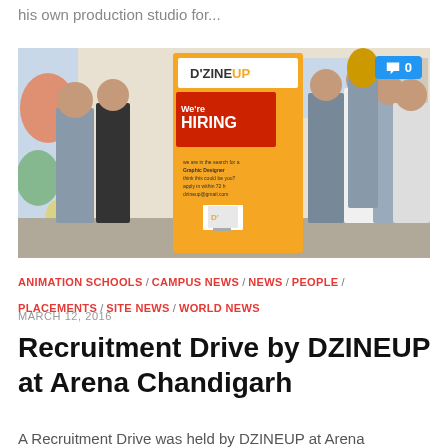his own production studio for...
[Figure (photo): Group photo of young men standing in front of a DZINEUP 'We're Hiring' recruitment banner at Arena Chandigarh. A comment badge showing '0' appears in the top-right corner.]
ANIMATION SCHOOLS / CAMPUS NEWS / NEWS / PEOPLE / PLACEMENTS / SITE NEWS / WORLD NEWS
MARCH 12, 2016
Recruitment Drive by DZINEUP at Arena Chandigarh
A Recruitment Drive was held by DZINEUP at Arena